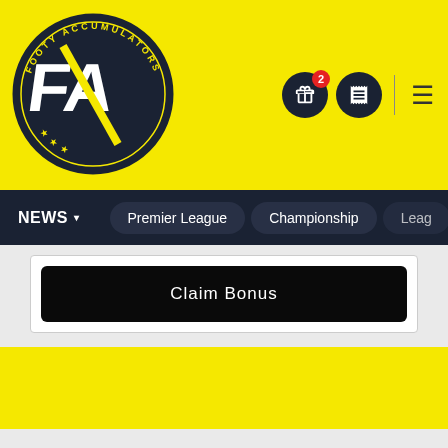[Figure (logo): Footy Accumulators circular logo with FA initials on yellow background]
NEWS | Premier League | Championship | Leag
Claim Bonus
[Figure (other): Yellow promotional banner area]
Footy Accumulators uses cookies to help us provide, protect & improve our services in accordance with our Privacy & Cookie policy, which includes details of how you can change your cookie settings.
Accept & Close